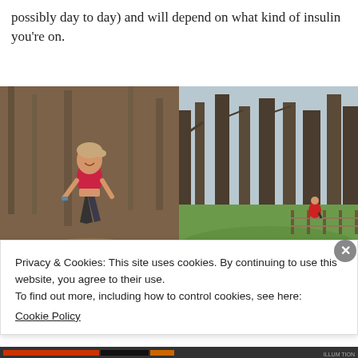possibly day to day) and will depend on what kind of insulin you're on.
[Figure (photo): Woman in red sports bra and patterned leggings running on a forest trail, smiling]
[Figure (photo): Person in red jacket running across a green field with bare winter trees in background]
Privacy & Cookies: This site uses cookies. By continuing to use this website, you agree to their use.
To find out more, including how to control cookies, see here: Cookie Policy
Close and accept